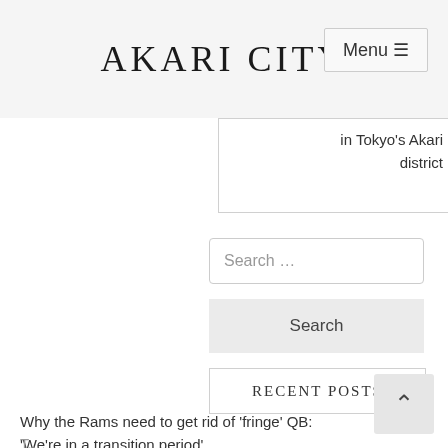AKARI CITY
in Tokyo's Akari district
Search ...
Search
RECENT POSTS
Why the Rams need to get rid of 'fringe' QB: 'We're in a transition period'
T...